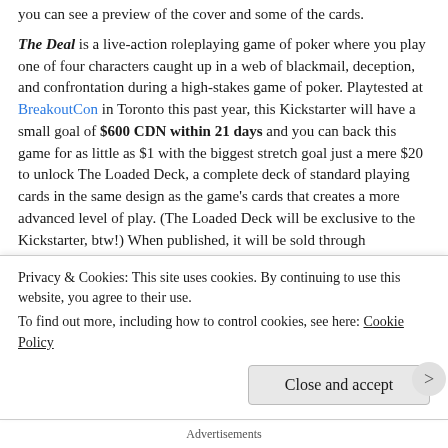you can see a preview of the cover and some of the cards. The Deal is a live-action roleplaying game of poker where you play one of four characters caught up in a web of blackmail, deception, and confrontation during a high-stakes game of poker. Playtested at BreakoutCon in Toronto this past year, this Kickstarter will have a small goal of $600 CDN within 21 days and you can back this game for as little as $1 with the biggest stretch goal just a mere $20 to unlock The Loaded Deck, a complete deck of standard playing cards in the same design as the game's cards that creates a more advanced level of play. (The Loaded Deck will be exclusive to the Kickstarter, btw!) When published, it will be sold through DriveThruCards and all cards are designed to work with existing poker decks to create a seamless and immersive experience. In other
Privacy & Cookies: This site uses cookies. By continuing to use this website, you agree to their use. To find out more, including how to control cookies, see here: Cookie Policy
Close and accept
Advertisements